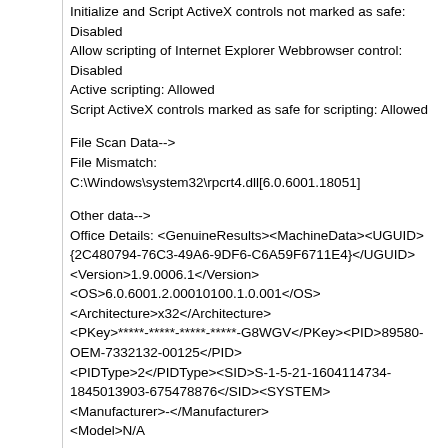Initialize and Script ActiveX controls not marked as safe: Disabled
Allow scripting of Internet Explorer Webbrowser control: Disabled
Active scripting: Allowed
Script ActiveX controls marked as safe for scripting: Allowed
File Scan Data-->
File Mismatch: C:\Windows\system32\rpcrt4.dll[6.0.6001.18051]
Other data-->
Office Details: <GenuineResults><MachineData><UGUID>{2C480794-76C3-49A6-9DF6-C6A59F6711E4}</UGUID><Version>1.9.0006.1</Version><OS>6.0.6001.2.00010100.1.0.001</OS><Architecture>x32</Architecture><PKey>*****-*****-*****-*****-G8WGV</PKey><PID>89580-OEM-7332132-00125</PID><PIDType>2</PIDType><SID>S-1-5-21-1604114734-1845013903-675478876</SID><SYSTEM><Manufacturer>-</Manufacturer><Model>N/A